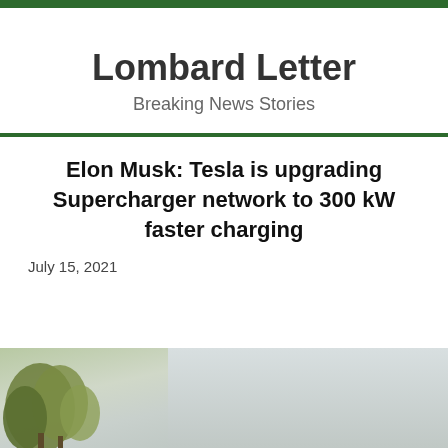Lombard Letter
Breaking News Stories
Elon Musk: Tesla is upgrading Supercharger network to 300 kW faster charging
July 15, 2021
[Figure (photo): Outdoor scene with trees visible at the bottom of the page, sky and landscape in the background]